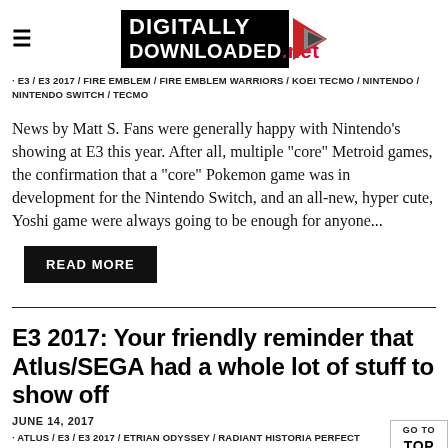Digitally Downloaded .net
· E3 / E3 2017 / FIRE EMBLEM / FIRE EMBLEM WARRIORS / KOEI TECMO / NINTENDO / NINTENDO SWITCH / TECMO
News by Matt S. Fans were generally happy with Nintendo's showing at E3 this year. After all, multiple "core" Metroid games, the confirmation that a "core" Pokemon game was in development for the Nintendo Switch, and an all-new, hyper cute, Yoshi game were always going to be enough for anyone...
READ MORE
E3 2017: Your friendly reminder that Atlus/SEGA had a whole lot of stuff to show off
JUNE 14, 2017
· ATLUS / E3 / E3 2017 / ETRIAN ODYSSEY / RADIANT HISTORIA PERFECT CHRONICLES / SEGA / SHIN MEGAMI